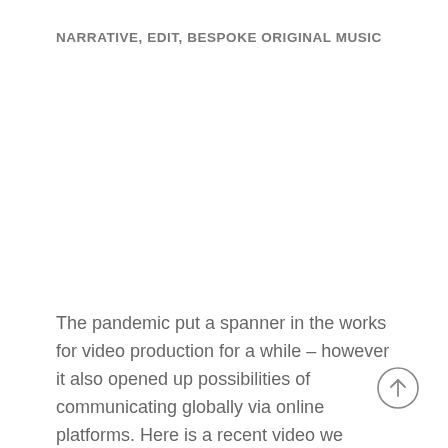NARRATIVE, EDIT, BESPOKE ORIGINAL MUSIC
The pandemic put a spanner in the works for video production for a while – however it also opened up possibilities of communicating globally via online platforms. Here is a recent video we made for ACCA Professional Insights,